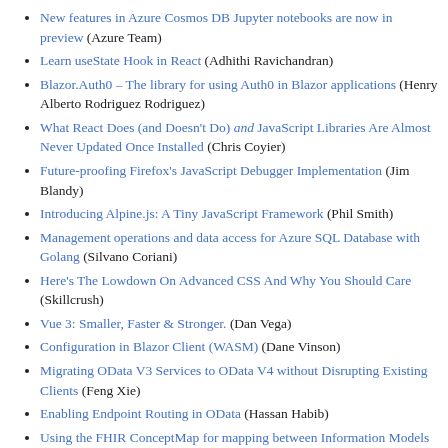New features in Azure Cosmos DB Jupyter notebooks are now in preview (Azure Team)
Learn useState Hook in React (Adhithi Ravichandran)
Blazor.Auth0 – The library for using Auth0 in Blazor applications (Henry Alberto Rodriguez Rodriguez)
What React Does (and Doesn't Do) and JavaScript Libraries Are Almost Never Updated Once Installed (Chris Coyier)
Future-proofing Firefox's JavaScript Debugger Implementation (Jim Blandy)
Introducing Alpine.js: A Tiny JavaScript Framework (Phil Smith)
Management operations and data access for Azure SQL Database with Golang (Silvano Coriani)
Here's The Lowdown On Advanced CSS And Why You Should Care (Skillcrush)
Vue 3: Smaller, Faster & Stronger. (Dan Vega)
Configuration in Blazor Client (WASM) (Dane Vinson)
Migrating OData V3 Services to OData V4 without Disrupting Existing Clients (Feng Xie)
Enabling Endpoint Routing in OData (Hassan Habib)
Using the FHIR ConceptMap for mapping between Information Models (Keith W. Boone)
Distorted Halo Effects with SVG Filters (More Lee)